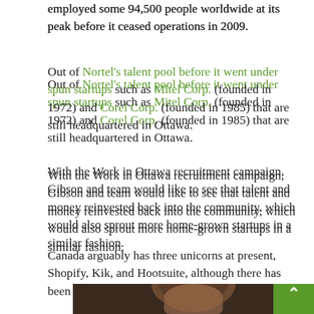employed some 94,500 people worldwide at its peak before it ceased operations in 2009.
Out of Nortel's talent pool before it went under spun startups such as Mitel Corp. (founded in 1972) and Corel Corp. (founded in 1985) that are still headquartered in Ottawa.
With the Work in Ottawa recruitment campaign, Gibson and team would like to see that talent and money reinvested back into the community, which would also sprout more home-grown startups in a similar fashion.
Canada arguably has three unicorns at present, Shopify, Kik, and Hootsuite, although there has been some debate about the latter.
[Figure (photo): Photo of a person with brown hair, partially visible, against a dark wooden background. A green scroll-to-top button is visible in the bottom right corner.]